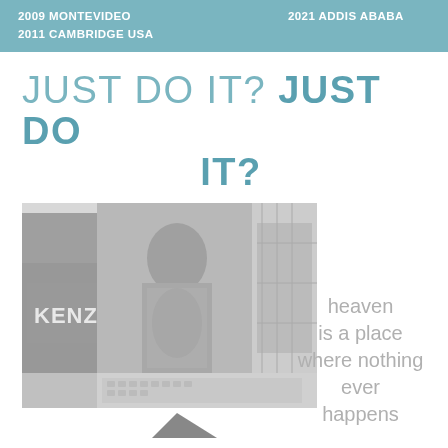2009 MONTEVIDEO   2021 ADDIS ABABA
2011 CAMBRIDGE USA
JUST DO IT? JUST DO IT?
[Figure (photo): Grayscale photograph of a KENZO fashion billboard/advertisement featuring a model, displayed in an urban setting. The image appears torn or fragmented at the bottom.]
heaven is a place where nothing ever happens